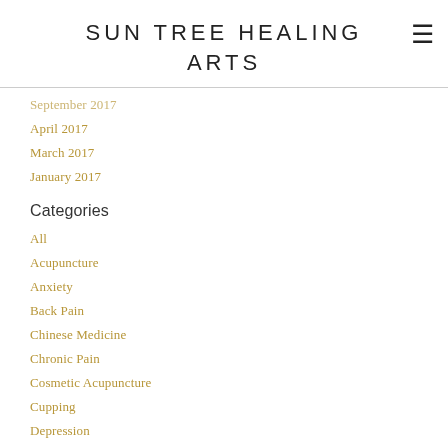SUN TREE HEALING ARTS
September 2017
April 2017
March 2017
January 2017
Categories
All
Acupuncture
Anxiety
Back Pain
Chinese Medicine
Chronic Pain
Cosmetic Acupuncture
Cupping
Depression
Does Acupuncture Hurt?